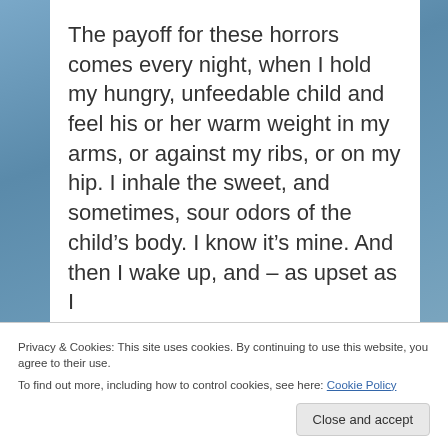The payoff for these horrors comes every night, when I hold my hungry, unfeedable child and feel his or her warm weight in my arms, or against my ribs, or on my hip. I inhale the sweet, and sometimes, sour odors of the child's body. I know it's mine. And then I wake up, and – as upset as I
Privacy & Cookies: This site uses cookies. By continuing to use this website, you agree to their use.
To find out more, including how to control cookies, see here: Cookie Policy

Close and accept
Also, it's just weird. Having kids was never a part